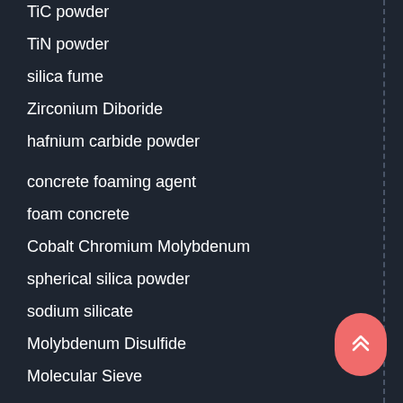TiC powder
TiN powder
silica fume
Zirconium Diboride
hafnium carbide powder
concrete foaming agent
foam concrete
Cobalt Chromium Molybdenum
spherical silica powder
sodium silicate
Molybdenum Disulfide
Molecular Sieve